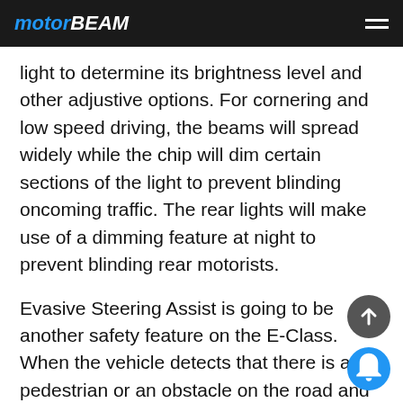MOTORBEAM
light to determine its brightness level and other adjustive options. For cornering and low speed driving, the beams will spread widely while the chip will dim certain sections of the light to prevent blinding oncoming traffic. The rear lights will make use of a dimming feature at night to prevent blinding rear motorists.
Evasive Steering Assist is going to be another safety feature on the E-Class. When the vehicle detects that there is a pedestrian or an obstacle on the road and the driver tries to steer away from it, the system will apply more input to the steering. Also, if the driver applies to avoid driving to the other way, the system will help the ...